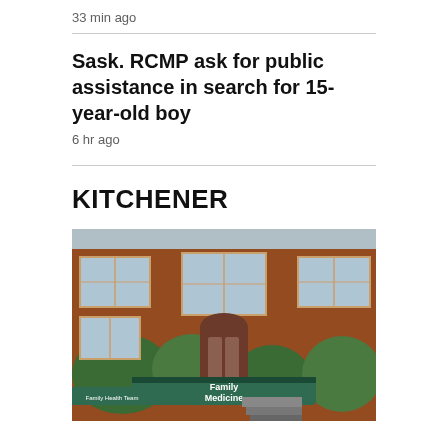33 min ago
Sask. RCMP ask for public assistance in search for 15-year-old boy
6 hr ago
KITCHENER
[Figure (photo): A red brick multi-storey building with a green awning sign reading 'Family Medicine' and 'Family Health Team', trees in front, and a staircase at the entrance.]